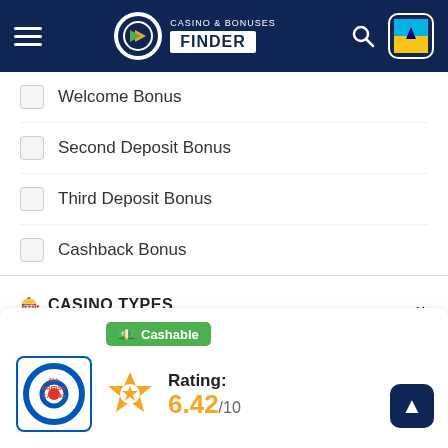[Figure (screenshot): Casino & Bonuses Finder website header with hamburger menu, logo, search icon, and Bahamas flag button on dark navy background]
Welcome Bonus
Second Deposit Bonus
Third Deposit Bonus
Cashback Bonus
CASINO TYPES
CASINO SOFTWARE
ONLINE CASINOS
Cashable
ALL BRITISH CASINO
Rating: 6.42/10